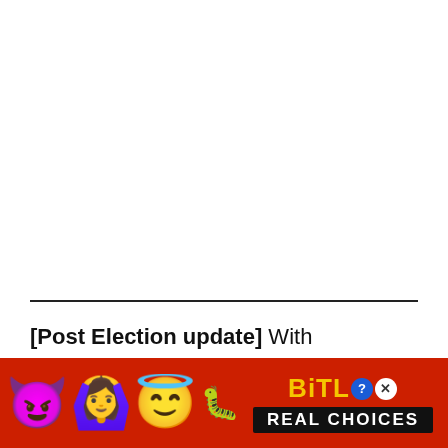[Post Election update] With Democratic candidate Joe Biden winning the Presidential election, continued...
[Figure (other): Advertisement overlay with BitLife branding, emojis (devil, woman raising hands, angel), and 'REAL CHOICES' tagline on red background]